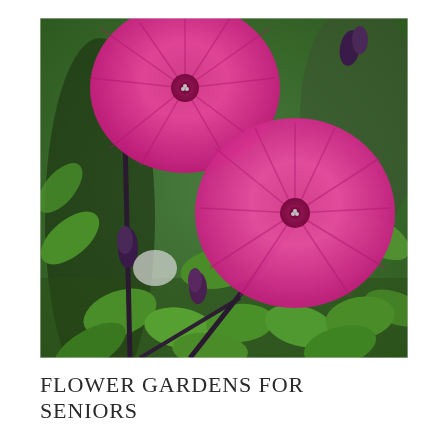[Figure (photo): Close-up photograph of bright pink petunia flowers with green foliage. Two large open blooms with radiating veins are prominent, along with several purple-green buds. The background is filled with lush green leaves.]
FLOWER GARDENS FOR SENIORS